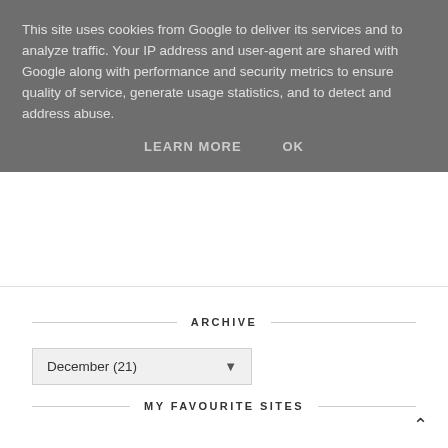This site uses cookies from Google to deliver its services and to analyze traffic. Your IP address and user-agent are shared with Google along with performance and security metrics to ensure quality of service, generate usage statistics, and to detect and address abuse.
LEARN MORE    OK
ARCHIVE
December (21)
MY FAVOURITE SITES